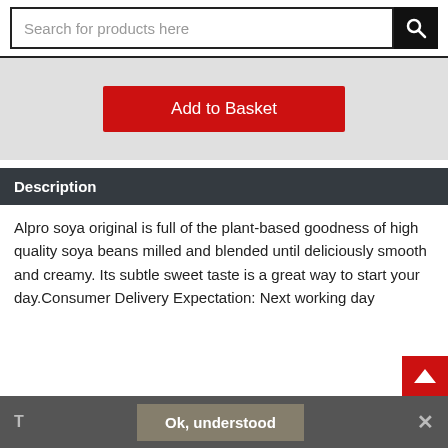Search for products here
[Figure (screenshot): Add to Basket button on grey background]
Description
Alpro soya original is full of the plant-based goodness of high quality soya beans milled and blended until deliciously smooth and creamy. Its subtle sweet taste is a great way to start your day.Consumer Delivery Expectation: Next working day
T  Ok, understood  ×